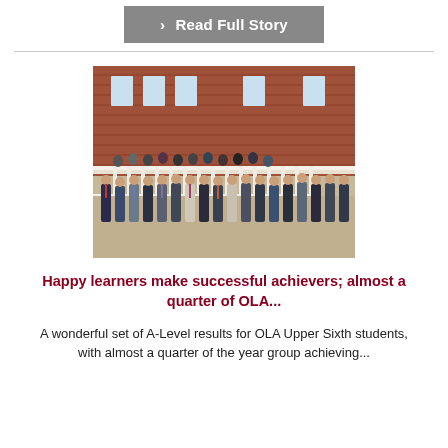> Read Full Story
[Figure (photo): Group photo of students standing in front of a red brick building with a white balcony. Students on the balcony above and a row of male students in smart-casual dress standing on the ground below.]
Happy learners make successful achievers; almost a quarter of OLA...
A wonderful set of A-Level results for OLA Upper Sixth students, with almost a quarter of the year group achieving...